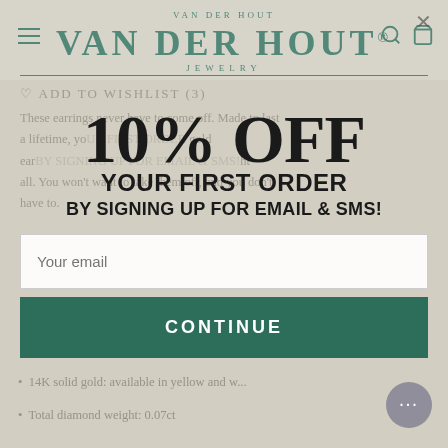[Figure (screenshot): Van Der Hout Jewelry website screenshot showing a promotional popup overlay. The header shows the brand name 'VAN DER HOUT' in large green serif letters with 'JEWEL DY' below. Background page content is faded, showing product description text and bullet points. A modal popup displays '10% OFF YOUR FIRST ORDER BY SIGNING UP FOR EMAIL & SMS!' with an email input field and a green CONTINUE button.]
VAN DER HOUT
VAN DER HOUT
JEWELRY
♡ ADD TO WISHLIST (3)
These earrings never have to come off. Made to last a lifetime, your everyday gold earrings... all. You won't want to take them off, and you don't have to.
Finer Details
10% OFF
YOUR FIRST ORDER
BY SIGNING UP FOR EMAIL & SMS!
Your email
CONTINUE
14K solid gold: available in yellow and w...
Total diamond weight: 0.07ct